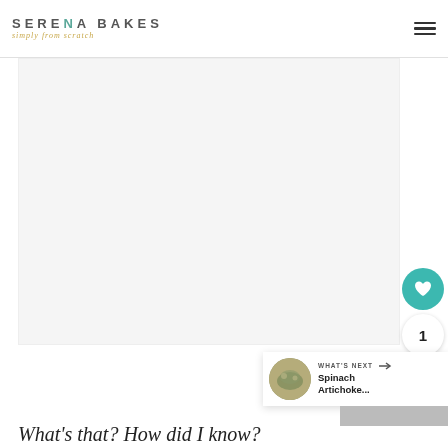SERENA BAKES simply from scratch
[Figure (other): Large blank/white food photo placeholder occupying most of the page]
[Figure (other): Floating sidebar with heart/favorite button (teal circle with heart icon), count of 1, and share button]
[Figure (other): What's Next card with thumbnail image of Spinach Artichoke dish and arrow]
What's that? How did I know?